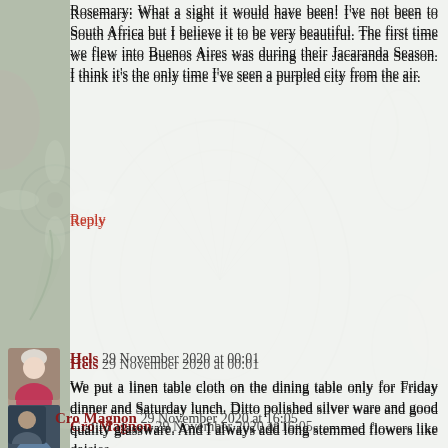Rosemary: What a sight it would have been! I've not been to South Africa but I believe it to be very beautiful. The first time we flew into Buenos Aires was during their Jacaranda Season. I think it's the only time I've seen a purpled city from the air.
Reply
Hels 29 November 2020 at 00:01
We put a linen table cloth on the dining table only for Friday dinner and Saturday lunch. Ditto polished silver ware and good quality glassware. And I always add long stemmed flowers like daisies.
But imagine one section of the jacaranda. As long as the flowers don't collapse onto the table, the colour and the shape of the flowers would look fantastic.
Reply
Cro Magnon 29 November 2020 at 16:05